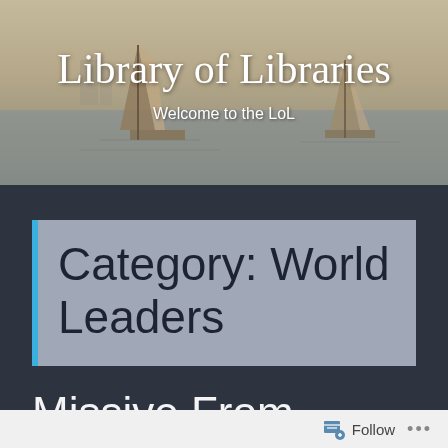[Figure (illustration): Watercolor-style painting of sailing ships on water with a misty harbor background, serving as the website header banner image]
Library of Libraries
Welcome to the LoL
Category: World Leaders
Missive From
Follow ...